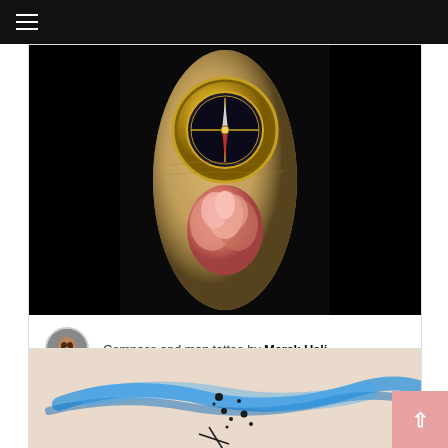Navigation menu
[Figure (photo): Realistic color tattoo on an arm featuring a golden compass at the top and a pink rose below, on a dark background]
Compass and map tattoo by Marek Hali
[Figure (photo): Partial view of a watercolor-style tattoo with blue brush strokes and black ink dots on a forearm]